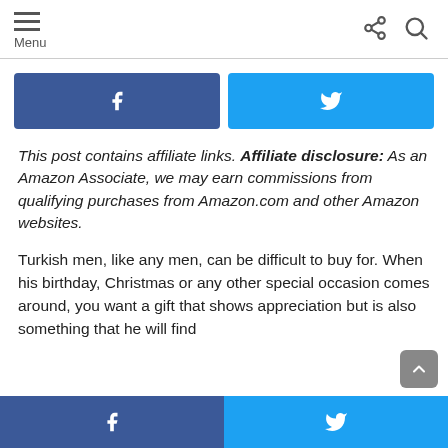Menu
[Figure (other): Facebook and Twitter share buttons at top of page]
This post contains affiliate links. Affiliate disclosure: As an Amazon Associate, we may earn commissions from qualifying purchases from Amazon.com and other Amazon websites.
Turkish men, like any men, can be difficult to buy for. When his birthday, Christmas or any other special occasion comes around, you want a gift that shows appreciation but is also something that he will find
[Figure (other): Facebook and Twitter share buttons at bottom of page]